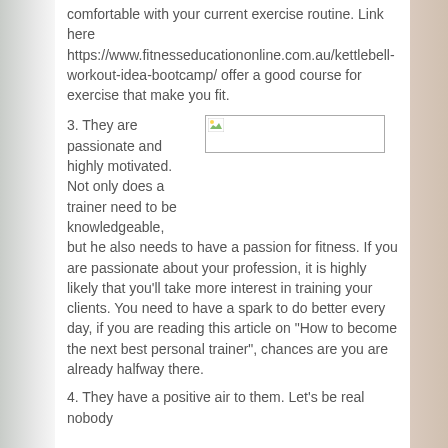comfortable with your current exercise routine. Link here https://www.fitnesseducationonline.com.au/kettlebell-workout-idea-bootcamp/ offer a good course for exercise that make you fit.
3. They are passionate and highly motivated. Not only does a trainer need to be knowledgeable,
[Figure (photo): Broken image placeholder icon]
but he also needs to have a passion for fitness. If you are passionate about your profession, it is highly likely that you'll take more interest in training your clients. You need to have a spark to do better every day, if you are reading this article on "How to become the next best personal trainer", chances are you are already halfway there.
4. They have a positive air to them. Let's be real nobody